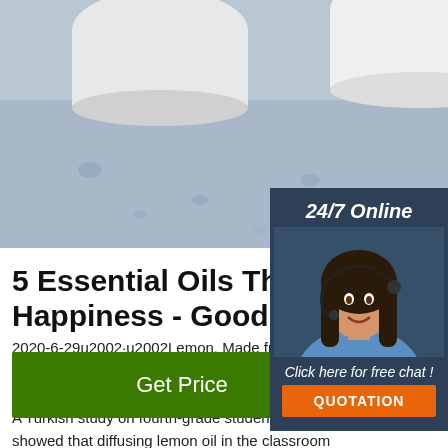[Figure (photo): Photo of white cosmetic containers/jars on a blue-gray surface with water droplets]
[Figure (infographic): 24/7 Online customer service widget with woman wearing headset, 'Click here for free chat!' text, and orange QUOTATION button]
5 Essential Oils That May Improve Happiness - Goodnet
2020-6-29u2002·u2002Lemon. Made from the peel of lemons, breathing in this essential oil will quickly uplift. If you are feeling exhausted or run down, this is the oil. A Turkish study on fourth-grade students learning showed that diffusing lemon oil in the classroom improved attention and learning performance.
[Figure (other): Green 'Get Price' button]
[Figure (logo): Orange TOP logo with dots arranged in triangle above the text TOP]